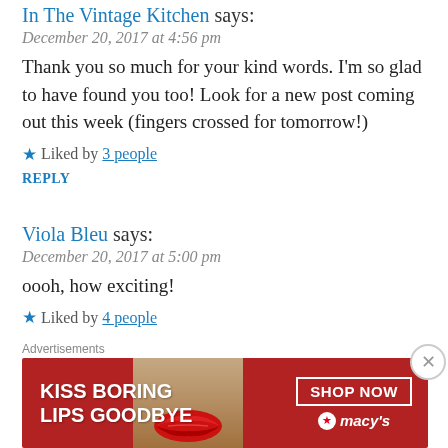In The Vintage Kitchen says:
December 20, 2017 at 4:56 pm
Thank you so much for your kind words. I'm so glad to have found you too! Look for a new post coming out this week (fingers crossed for tomorrow!)
★ Liked by 3 people
REPLY
Viola Bleu says:
December 20, 2017 at 5:00 pm
oooh, how exciting!
★ Liked by 4 people
justagirlandherpug says:
[Figure (other): Advertisement banner for Macy's: KISS BORING LIPS GOODBYE with SHOP NOW button and Macy's logo with red star]